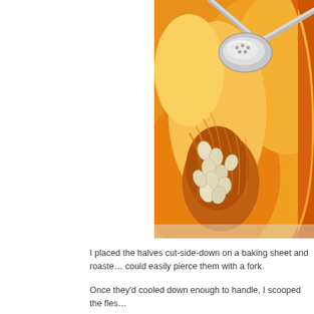[Figure (photo): Close-up photograph of a halved winter squash or pumpkin showing seeds and fibrous interior being scooped with a metal spoon. The flesh is bright orange and seeds are white. The spoon is silver/metallic and partially visible at the top.]
I placed the halves cut-side-down on a baking sheet and roaste… could easily pierce them with a fork.
Once they'd cooled down enough to handle, I scooped the fles…